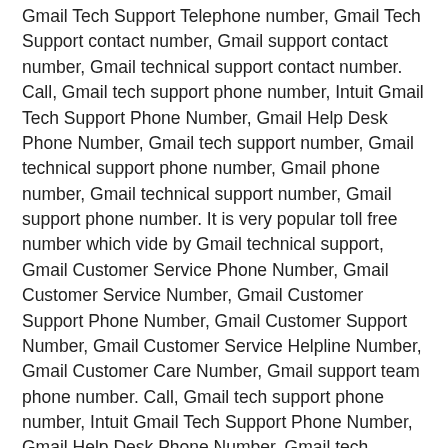Gmail Tech Support Telephone number, Gmail Tech Support contact number, Gmail support contact number, Gmail technical support contact number. Call, Gmail tech support phone number, Intuit Gmail Tech Support Phone Number, Gmail Help Desk Phone Number, Gmail tech support number, Gmail technical support phone number, Gmail phone number, Gmail technical support number, Gmail support phone number. It is very popular toll free number which vide by Gmail technical support, Gmail Customer Service Phone Number, Gmail Customer Service Number, Gmail Customer Support Phone Number, Gmail Customer Support Number, Gmail Customer Service Helpline Number, Gmail Customer Care Number, Gmail support team phone number. Call, Gmail tech support phone number, Intuit Gmail Tech Support Phone Number, Gmail Help Desk Phone Number, Gmail tech support number, Gmail technical support phone number, Gmail phone number, Gmail technical support number, Gmail support phone number, Gmail technical support, Gmail Customer Service Phone Number, Gmail Customer Service Number, Gmail Customer Support Phone Number, Gmail Customer Support Number, Gmail Customer Service Helpline Number, Gmail Customer Care Number, Gmail support team phone number, Gmail help number.Gmail Helpline Number; Gmail